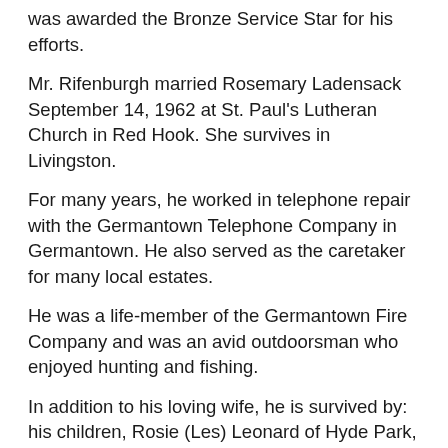was awarded the Bronze Service Star for his efforts.
Mr. Rifenburgh married Rosemary Ladensack September 14, 1962 at St. Paul's Lutheran Church in Red Hook. She survives in Livingston.
For many years, he worked in telephone repair with the Germantown Telephone Company in Germantown. He also served as the caretaker for many local estates.
He was a life-member of the Germantown Fire Company and was an avid outdoorsman who enjoyed hunting and fishing.
In addition to his loving wife, he is survived by: his children, Rosie (Les) Leonard of Hyde Park, Robert (Blake Swart) Rifenburgh of Texas, and Ron Rifenburgh of Germantown; his sister, Joan Lyons of Livingston; his grandchildren, Ronald Rifenburgh, Jr., Isabella Rifenburgh, and Haley Rifenburgh; along with extended family, friends, and colleagues.
His sisters, Lorraine Austin and Gloria Millus predeceased him.
Graveside services with military honors were held